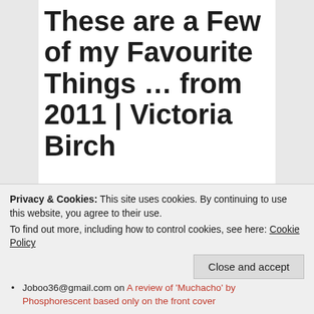These are a Few of my Favourite Things … from 2011 | Victoria Birch
Maybe I'll save the angst and tell her we started here all along
Privacy & Cookies: This site uses cookies. By continuing to use this website, you agree to their use.
To find out more, including how to control cookies, see here: Cookie Policy
Close and accept
Joboo36@gmail.com on A review of 'Muchacho' by Phosphorescent based only on the front cover